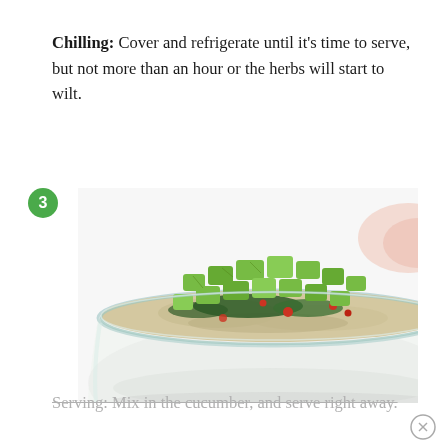Chilling: Cover and refrigerate until it's time to serve, but not more than an hour or the herbs will start to wilt.
[Figure (photo): A glass bowl filled with tabbouleh salad ingredients including chopped cucumber, tomato, herbs, and grain, photographed from above at an angle on a white background. A step number badge '3' appears to the left.]
Serving: Mix in the cucumber, and serve right away.